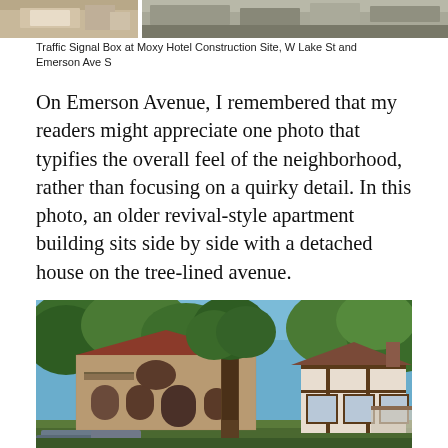[Figure (photo): Top portion of a photo showing a traffic signal box at Moxy Hotel construction site, partially cropped at top of page]
Traffic Signal Box at Moxy Hotel Construction Site, W Lake St and Emerson Ave S
On Emerson Avenue, I remembered that my readers might appreciate one photo that typifies the overall feel of the neighborhood, rather than focusing on a quirky detail. In this photo, an older revival-style apartment building sits side by side with a detached house on the tree-lined avenue.
[Figure (photo): Street-level photo of a tree-lined avenue showing an older revival-style stone apartment building on the left with arched windows and red tile roof, and a detached Tudor-style house on the right, with mature trees in the foreground and blue sky above]